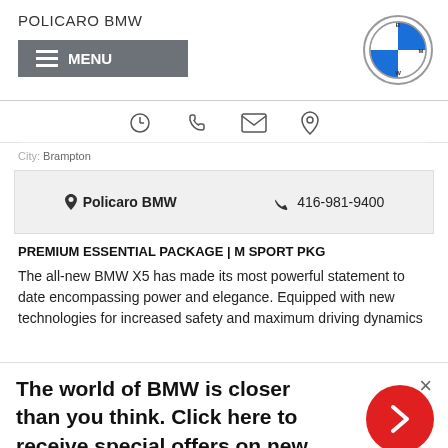POLICARO BMW
[Figure (logo): BMW circular logo with blue and white quadrants]
[Figure (screenshot): Navigation bar icons: clock, phone, envelope, location pin]
City:   Brampton
Policaro BMW   416-981-9400
PREMIUM ESSENTIAL PACKAGE | M SPORT PKG
The all-new BMW X5 has made its most powerful statement to date encompassing power and elegance. Equipped with new technologies for increased safety and maximum driving dynamics
The world of BMW is closer than you think. Click here to receive special offers on new and pre-owned BMW models.